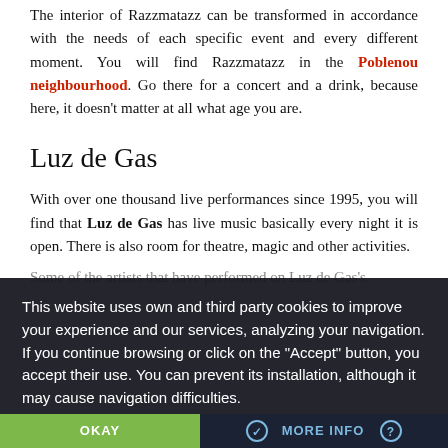The interior of Razzmatazz can be transformed in accordance with the needs of each specific event and every different moment. You will find Razzmatazz in the Poblenou neighbourhood. Go there for a concert and a drink, because here, it doesn't matter at all what age you are.
Luz de Gas
With over one thousand live performances since 1995, you will find that Luz de Gas has live music basically every night it is open. There is also room for theatre, magic and other activities.
Some of the artists that have performed on Luz de Gas's...
This website uses own and third party cookies to improve your experience and our services, analyzing your navigation. If you continue browsing or click on the "Accept" button, you accept their use. You can prevent its installation, although it may cause navigation difficulties.
OKAY | MORE INFO